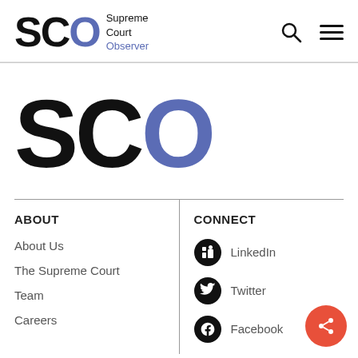SCO Supreme Court Observer
[Figure (logo): Large SCO logo with S and C in black bold, O in blue/purple]
ABOUT
About Us
The Supreme Court
Team
Careers
CONNECT
LinkedIn
Twitter
Facebook